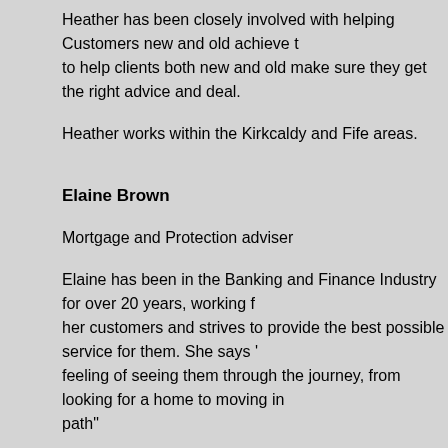Heather has been closely involved with helping Customers new and old achieve t to help clients both new and old make sure they get the right advice and deal.
Heather works within the Kirkcaldy and Fife areas.
Elaine Brown
Mortgage and Protection adviser
Elaine has been in the Banking and Finance Industry for over 20 years, working f her customers and strives to provide the best possible service for them. She says ' feeling of seeing them through the journey, from looking for a home to moving in path"
Elaine is married and loves looking after her rescue dog from Cyprus.
Her hobbies are looking after her dog and growing her own vegetables," there is n
Diane Malcom